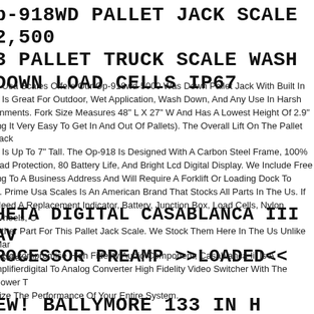p-918WD PALLET JACK SCALE 2,500 3 PALLET TRUCK SCALE WASH DOWN LOAD CELLS IP67
e Usa Scales Offers Our Op-918wd-5000 Was Down Pallet Jack With Built In e Is Great For Outdoor, Wet Application, Wash Down, And Any Use In Harsh onments. Fork Size Measures 48" L X 27" W And Has A Lowest Height Of 2.9" ing It Very Easy To Get In And Out Of Pallets). The Overall Lift On The Pallet Jack e Is Up To 7" Tall. The Op-918 Is Designed With A Carbon Steel Frame, 100% oad Protection, 80 Battery Life, And Bright Lcd Digital Display. We Include Free ing To A Business Address And Will Require A Forklift Or Loading Dock To d. Prime Usa Scales Is An American Brand That Stocks All Parts In The Us. If Need A Replacement Indicator, Battery, Junction Box, Load Cells, Nylon Wheels, Other Part For This Pallet Jack Scale. We Stock Them Here In The Us Unlike Mar Sellers.
HETA DIGITAL CASABLANCA III AV ROCESSOR PREAMP >>LOADED<<
A No-compromise High Fidelity Audio Component, Casablanca Iii Is A mplifierdigital To Analog Converter High Fidelity Video Switcher With The Power T nize The Performance Of Your Entire System.
EW! BALLYMORE 133 IN H STEEL